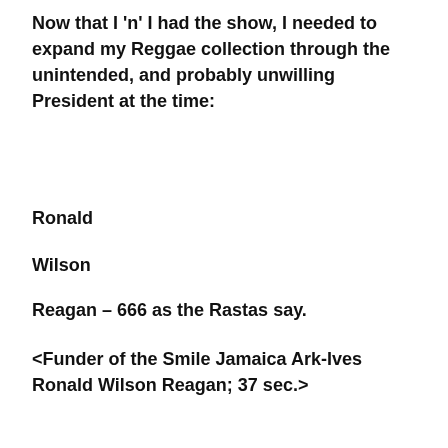Now that I 'n' I had the show, I needed to expand my Reggae collection through the unintended, and probably unwilling President at the time:
Ronald
Wilson
Reagan – 666 as the Rastas say.
<Funder of the Smile Jamaica Ark-Ives Ronald Wilson Reagan; 37 sec.>
[Figure (other): Audio player widget with play button, 00:00 start time, progress bar, and 00:00 end time on dark background]
[Figure (photo): Photo strip showing Ronald Reagan wearing a Rastafarian hat, repeated three times, with text overlays reading 'Ronald' and 'Rasta']